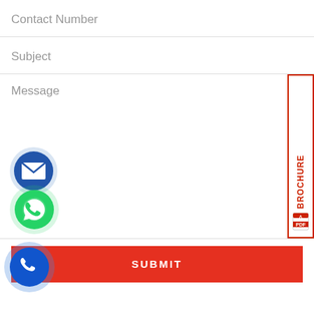Contact Number
Subject
Message
[Figure (screenshot): BROCHURE tab on right side with PDF icon, red border]
[Figure (illustration): Email icon - blue circle with envelope]
[Figure (illustration): WhatsApp icon - green circle with phone handset]
SUBMIT
[Figure (illustration): Phone call icon - blue circle with phone handset]